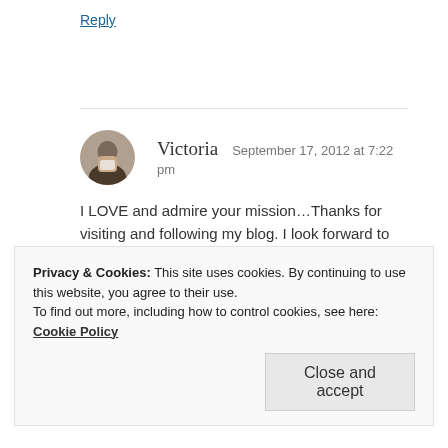Victoria  September 17, 2012 at 7:22 pm
I LOVE and admire your mission…Thanks for visiting and following my blog. I look forward to hearing more about your travels… Victoria
Reply
Privacy & Cookies: This site uses cookies. By continuing to use this website, you agree to their use. To find out more, including how to control cookies, see here: Cookie Policy
Close and accept